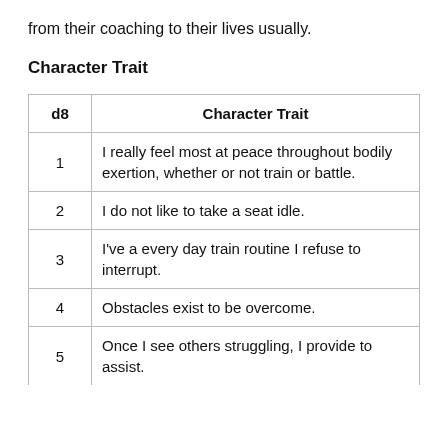from their coaching to their lives usually.
Character Trait
| d8 | Character Trait |
| --- | --- |
| 1 | I really feel most at peace throughout bodily exertion, whether or not train or battle. |
| 2 | I do not like to take a seat idle. |
| 3 | I've a every day train routine I refuse to interrupt. |
| 4 | Obstacles exist to be overcome. |
| 5 | Once I see others struggling, I provide to assist. |